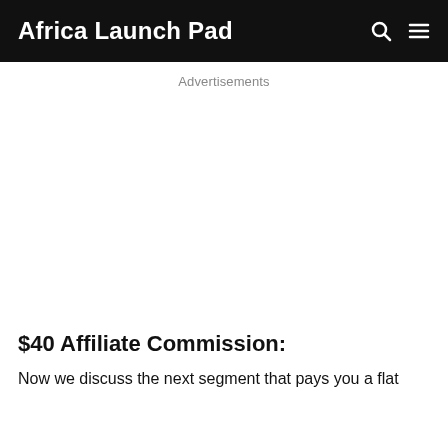Africa Launch Pad
Advertisements
$40 Affiliate Commission:
Now we discuss the next segment that pays you a flat